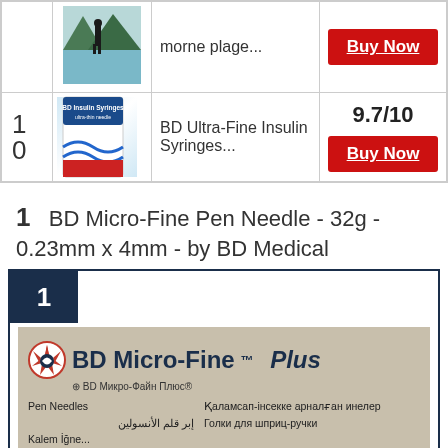| Rank | Image | Product | Score/Action |
| --- | --- | --- | --- |
|  |  | morne plage... | Buy Now |
| 10 |  | BD Ultra-Fine Insulin Syringes... | 9.7/10 | Buy Now |
1  BD Micro-Fine Pen Needle - 32g - 0.23mm x 4mm - by BD Medical
[Figure (photo): BD Micro-Fine Plus pen needles product box with multilingual text including Russian and Arabic. Shows BD logo, product name in bold, and text in multiple languages including 'Pen Needles', Arabic, Russian 'Голки для шприц-ручки', and Kazakh text.]